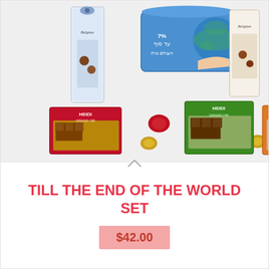[Figure (photo): Product photo showing a chocolate gift set: Belgian chocolate boxes on left and right, a blue tin box with globe/world graphic in the center top, Heidi chocolate bars (red, green, orange packaging) across the bottom, and assorted foil-wrapped chocolate candies in the middle.]
TILL THE END OF THE WORLD SET
$42.00